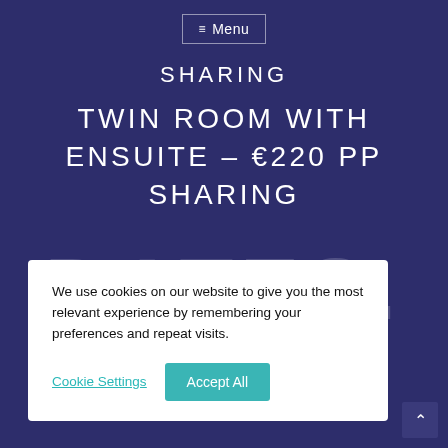≡ Menu
SHARING
TWIN ROOM WITH ENSUITE – €220 PP SHARING
DATES
OF
We use cookies on our website to give you the most relevant experience by remembering your preferences and repeat visits.
Cookie Settings
Accept All